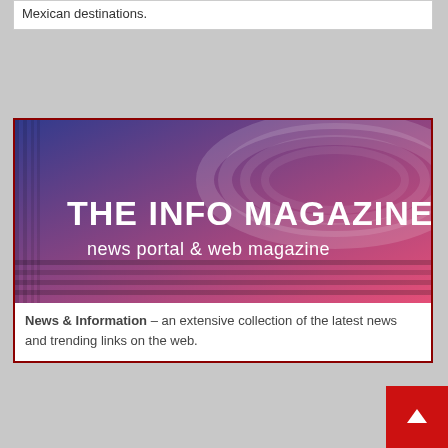Mexican destinations.
[Figure (illustration): The Info Magazine banner image with blue/red abstract background showing 'THE INFO MAGAZINE news portal & web magazine' text]
News & Information – an extensive collection of the latest news and trending links on the web.
[Figure (infographic): Green advertisement banner for P2E.GAME with text 'How to survive bear market?' and link p2e.game]